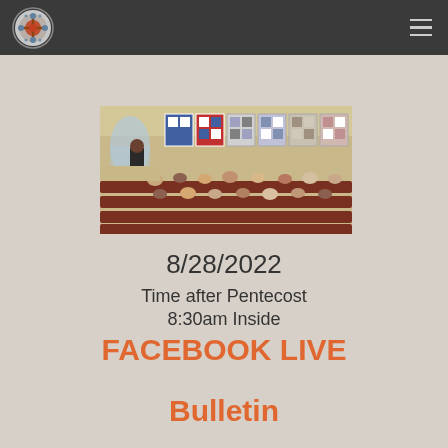Church website header with logo and navigation menu
[Figure (photo): Interior of a church sanctuary with a speaker standing at the front and congregation seated in pews. Colorful quilts displayed on the back wall.]
8/28/2022
Time after Pentecost
8:30am Inside
FACEBOOK LIVE
Bulletin